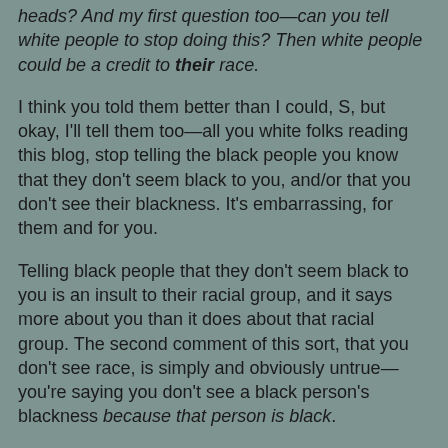heads? And my first question too—can you tell white people to stop doing this? Then white people could be a credit to their race.
I think you told them better than I could, S, but okay, I'll tell them too—all you white folks reading this blog, stop telling the black people you know that they don't seem black to you, and/or that you don't see their blackness. It's embarrassing, for them and for you.
Telling black people that they don't seem black to you is an insult to their racial group, and it says more about you than it does about that racial group. The second comment of this sort, that you don't see race, is simply and obviously untrue—you're saying you don't see a black person's blackness because that person is black.
T asked what's going on in white folks' heads when they say these things, and I think he's pretty much answered his own question. They're saying something that's more about themselves than about the person in front of them, projecting